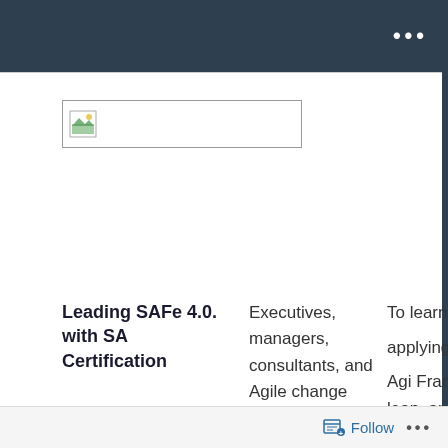...
[Figure (illustration): Broken/placeholder image icon in a rectangular bordered box]
Leading SAFe 4.0. with SA Certification
Executives, managers, consultants, and Agile change agents
To learn about applying the Scaled Agile Framework lean, and
Follow ...